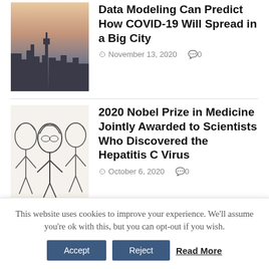[Figure (photo): City skyline photo showing skyscrapers at dusk with warm sky tones]
Data Modeling Can Predict How COVID-19 Will Spread in a Big City
November 13, 2020   0
[Figure (illustration): Black and white sketch illustration of three scientists/researchers]
2020 Nobel Prize in Medicine Jointly Awarded to Scientists Who Discovered the Hepatitis C Virus
October 6, 2020   0
[Figure (photo): Colorful painting or photo related to Sumo Wrestlers]
Why Sumo Wrestlers Don't Typically Suffer from...
This website uses cookies to improve your experience. We'll assume you're ok with this, but you can opt-out if you wish.